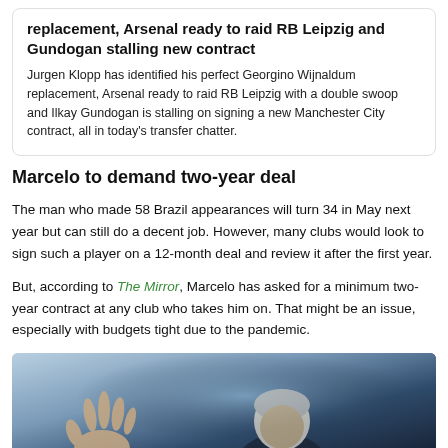replacement, Arsenal ready to raid RB Leipzig and Gundogan stalling new contract
Jurgen Klopp has identified his perfect Georgino Wijnaldum replacement, Arsenal ready to raid RB Leipzig with a double swoop and Ilkay Gundogan is stalling on signing a new Manchester City contract, all in today's transfer chatter.
Marcelo to demand two-year deal
The man who made 58 Brazil appearances will turn 34 in May next year but can still do a decent job. However, many clubs would look to sign such a player on a 12-month deal and review it after the first year.
But, according to The Mirror, Marcelo has asked for a minimum two-year contract at any club who takes him on. That might be an issue, especially with budgets tight due to the pandemic.
[Figure (photo): A person waving with one hand raised, photographed against a blurred dark blue background]